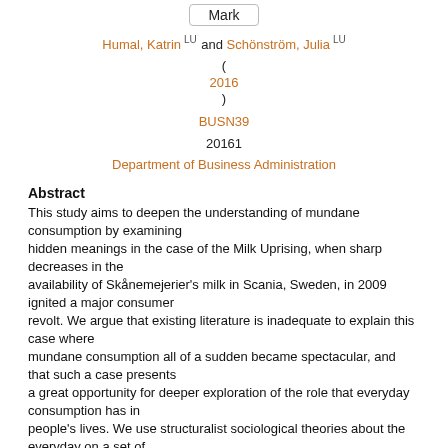Mark
Humal, Katrin LU and Schönström, Julia LU
( 2016 )
BUSN39
20161
Department of Business Administration
Abstract
This study aims to deepen the understanding of mundane consumption by examining hidden meanings in the case of the Milk Uprising, when sharp decreases in the availability of Skånemejerier's milk in Scania, Sweden, in 2009 ignited a major consumer revolt. We argue that existing literature is inadequate to explain this case where mundane consumption all of a sudden became spectacular, and that such a case presents a great opportunity for deeper exploration of the role that everyday consumption has in people's lives. We use structuralist sociological theories about the everyday on a set of empirical material through interviews, documents and other sources.